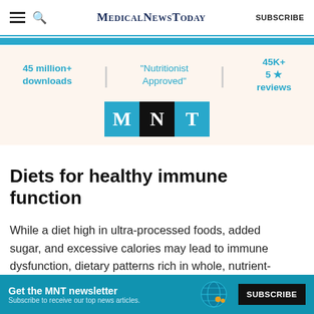MedicalNewsToday  SUBSCRIBE
[Figure (infographic): MNT app ad banner with stats: 45 million+ downloads, 'Nutritionist Approved', 45K+ 5-star reviews, MNT logo tiles]
Diets for healthy immune function
While a diet high in ultra-processed foods, added sugar, and excessive calories may lead to immune dysfunction, dietary patterns rich in whole, nutrient-
ADVERTISEMENT  Get the MNT newsletter  Subscribe to receive our top news articles.  SUBSCRIBE